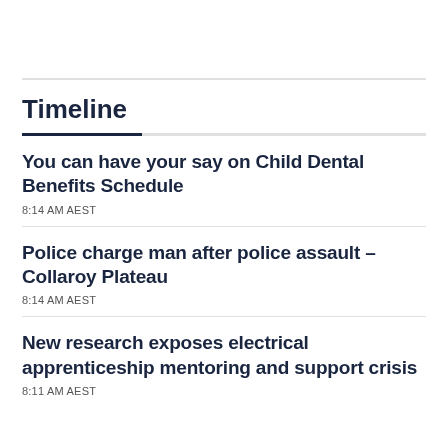Timeline
You can have your say on Child Dental Benefits Schedule
8:14 AM AEST
Police charge man after police assault – Collaroy Plateau
8:14 AM AEST
New research exposes electrical apprenticeship mentoring and support crisis
8:11 AM AEST